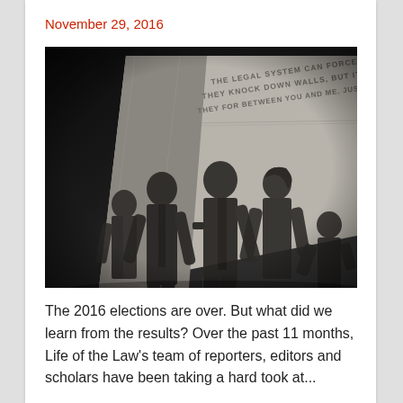November 29, 2016
[Figure (photo): Black and white photograph of a civil rights memorial sculpture showing multiple bronze figures walking forward, with an engraved quote from Justice Thurgood Marshall on the wall behind them: 'THE LEGAL SYSTEM CAN FORCE OPEN DOORS AND SOMETIMES THEY KNOCK DOWN WALLS, BUT IT CANNOT BUILD BRIDGES. THEY FOR BETWEEN YOU AND ME. JUSTICE THURGOOD MARSHALL']
The 2016 elections are over. But what did we learn from the results? Over the past 11 months, Life of the Law's team of reporters, editors and scholars have been taking a hard took at...